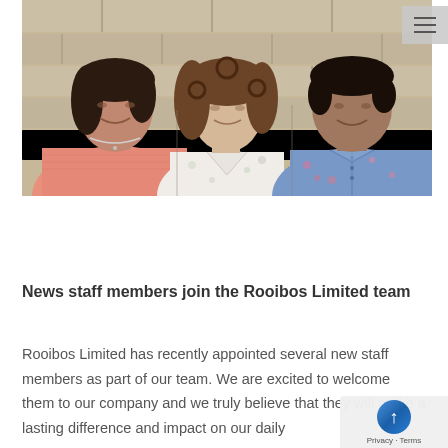[Figure (photo): Three women standing in front of a stone wall background. Left: woman in pink sweater with necklace. Center: woman with curly hair in white floral top. Right: woman with short hair in blue floral shirt.]
News staff members join the Rooibos Limited team
Rooibos Limited has recently appointed several new staff members as part of our team. We are excited to welcome them to our company and we truly believe that they will make a lasting difference and impact on our daily